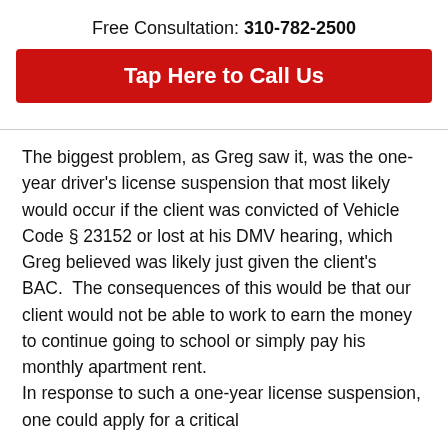Free Consultation: 310-782-2500
Tap Here to Call Us
The biggest problem, as Greg saw it, was the one-year driver's license suspension that most likely would occur if the client was convicted of Vehicle Code § 23152 or lost at his DMV hearing, which Greg believed was likely just given the client's BAC.  The consequences of this would be that our client would not be able to work to earn the money to continue going to school or simply pay his monthly apartment rent.
In response to such a one-year license suspension, one could apply for a critical